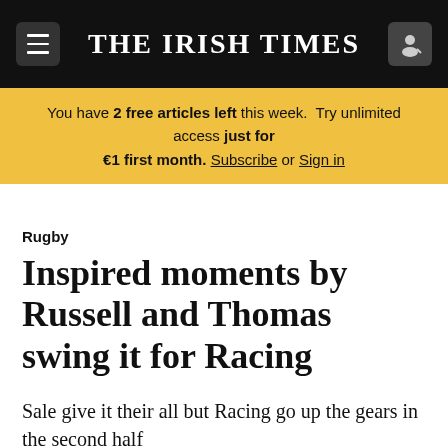THE IRISH TIMES
You have 2 free articles left this week. Try unlimited access just for €1 first month. Subscribe or Sign in
Rugby
Inspired moments by Russell and Thomas swing it for Racing
Sale give it their all but Racing go up the gears in the second half
Expand